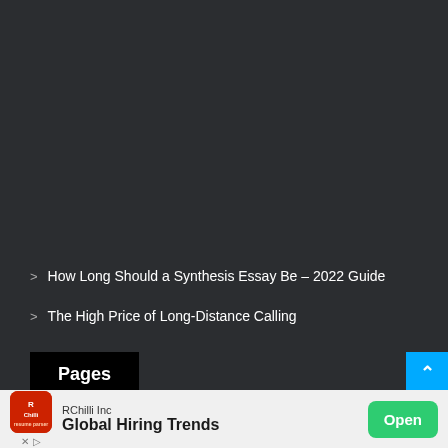How Long Should a Synthesis Essay Be – 2022 Guide
The High Price of Long-Distance Calling
Pages
[Figure (screenshot): Advertisement banner for RChilli Inc showing company logo, 'Global Hiring Trends' text, and a green 'Open' button]